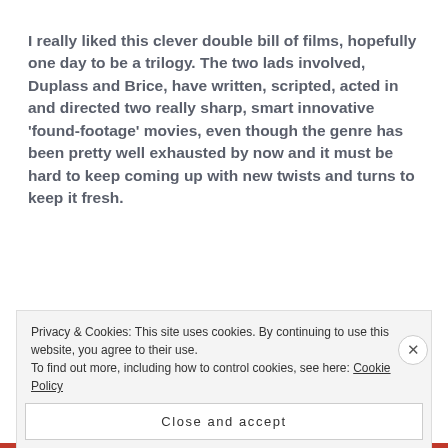I really liked this clever double bill of films, hopefully one day to be a trilogy. The two lads involved, Duplass and Brice, have written, scripted, acted in and directed two really sharp, smart innovative 'found-footage' movies, even though the genre has been pretty well exhausted by now and it must be hard to keep coming up with new twists and turns to keep it fresh.
The only negative thing I'll say about it, and it's
Privacy & Cookies: This site uses cookies. By continuing to use this website, you agree to their use.
To find out more, including how to control cookies, see here: Cookie Policy
Close and accept